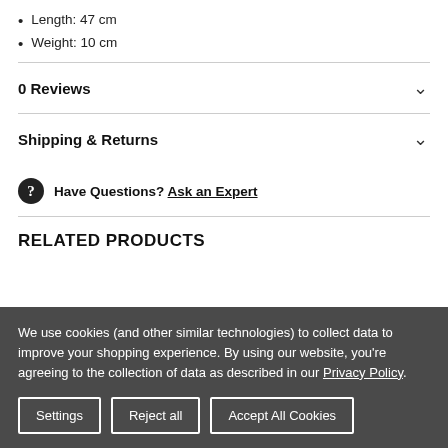Length: 47 cm
Weight: 10 cm
0 Reviews
Shipping & Returns
Have Questions? Ask an Expert
RELATED PRODUCTS
We use cookies (and other similar technologies) to collect data to improve your shopping experience. By using our website, you're agreeing to the collection of data as described in our Privacy Policy.
Settings | Reject all | Accept All Cookies